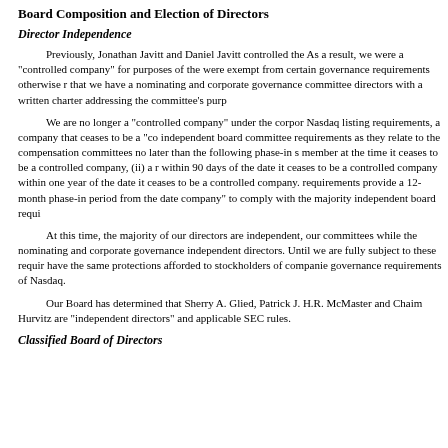Board Composition and Election of Directors
Director Independence
Previously, Jonathan Javitt and Daniel Javitt controlled the As a result, we were a "controlled company" for purposes of the were exempt from certain governance requirements otherwise r that we have a nominating and corporate governance committee directors with a written charter addressing the committee's purp
We are no longer a "controlled company" under the corpor Nasdaq listing requirements, a company that ceases to be a "co independent board committee requirements as they relate to the compensation committees no later than the following phase-in s member at the time it ceases to be a controlled company, (ii) a r within 90 days of the date it ceases to be a controlled company within one year of the date it ceases to be a controlled company. requirements provide a 12-month phase-in period from the date company" to comply with the majority independent board requi
At this time, the majority of our directors are independent, our committees while the nominating and corporate governance independent directors. Until we are fully subject to these requir have the same protections afforded to stockholders of companie governance requirements of Nasdaq.
Our Board has determined that Sherry A. Glied, Patrick J. H.R. McMaster and Chaim Hurvitz are "independent directors" and applicable SEC rules.
Classified Board of Directors